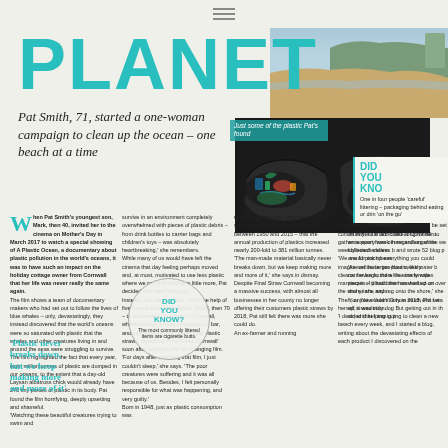≡
PLANET
[Figure (photo): Coastal beach scene with cliffs, sand, and sea]
Pat Smith, 71, started a one-woman campaign to clean up the ocean – one beach at a time
[Figure (photo): Two large black plastic bin bags filled with collected plastic and litter from beach, with caption 'Just some of the plastic Pat's found']
When Pat Smith's youngest son, Mark, then 40, invited her to the cinema on Mother's Day in March 2017 to watch a special showing of A Plastic Ocean, a documentary about plastic pollution in the world's oceans, it was to have such an impact on the holiday cottage owner from Cornwall that her life was never really the same again. The film shows a team of documentary makers who had set out to follow the lives of blue whales – only, devastatingly, they instead discovered that the world's oceans were so saturated with plastic that the whales and other creatures living in and around the seas were struggling to survive. The film highlighted the fact that every year, eight million tonnes of plastic are dumped in our oceans, to the extent that a day-old Laysan albatross chick would already have 276 tiny pieces of plastic in its body. Pat found the film horrifying, deeply upsetting and shameful. 'Watching these beautiful creatures trying to swim and
survive in an environment completely overwhelmed with pieces of plastic debris – from drink bottles to carrier bags and children's toys – was absolutely heartbreaking,' she remembers. While many of us would have left the cinema that day feeling perhaps moved and, at most, motivated to use less plastic where we can and recycle a little more, Pat decided that wasn't enough. Instead, she made a plan – with the help of five friends and her husband, David, then 70 – to tackle every business in Cornwall, whether it was a hotel, restaurant or bar, and campaign to stop them using plastic straws, launching 'Final Straw Cornwall' soon after watching the life-changing film. 'For days after watching that film, I just couldn't sleep,' she says. 'The poor creatures were suffering and it was all because of us. Besides, I felt personally responsible for what was happening, and very guilty.' Born in 1948, just as plastic consumption was
really becoming rife, baby boomer Pat says it was throughout her lifetime – between 1950 and 2015 – that the annual production of plastics increased nearly 200-fold to 381 million tonnes. 'The man-made material basically never breaks down, but we keep making more and more of it,' she says in dismay. Despite Final Straw Cornwall becoming a massive success, with almost all businesses in her county no longer offering their customers plastic straws by 2018, Pat still felt there was more she could do. An ex-farmer and running
a holiday cottage business with David, she knew a lot of people in the local community, so it didn't take long for her to gather support from others and organise weekly beach cleans. 'We would pick up everything you could imagine on those two-hour weekly cleans. I even found a life-size female mannequin – it had been washed up on the shore,' she says. Then, on New Year's Day in 2018, Pat set herself a resolution. 'I decided that I was going to clean a new beach every week, and I started a blog, writing about the devastating effects of each product I discovered on the
beaches,' she explains. Armed with a lite gloves and a bin bag, set off in her car around coast of Cornwall and once every week in regardless of the weather, collected endless bits and wrote 52 blog posts, one for each beach. 'As well as larger pieces of plastic, like water bottles and carrier bags, there were so many wipes and small pieces of plastic that Pat has worked on over the years, and regularly onto the shore,' she says. 'You just wouldn't believe how much of it I washed up. It was truly dog-matic. But getting out in the air, and helping to p
'Plastic never breaks down, but we keep making more and more of it'
DID YOU KNOW? The most commonly littered items are cigarette butts.
DID YOU KNOW One in four people 'careful' littering – packaging behind eating or drinking 'on the go'